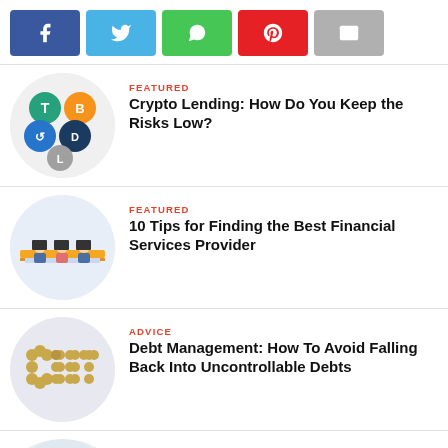[Figure (infographic): Social share buttons: Facebook (blue), Twitter (light blue), WhatsApp (green), Pinterest (red), Email (grey)]
[Figure (photo): Circular image of cryptocurrency icons/logos]
FEATURED
Crypto Lending: How Do You Keep the Risks Low?
[Figure (illustration): Circular illustration of people working at a financial services desk]
FEATURED
10 Tips for Finding the Best Financial Services Provider
[Figure (photo): Circular image of coins arranged to spell DEBT]
ADVICE
Debt Management: How To Avoid Falling Back Into Uncontrollable Debts
[Figure (photo): Circular image partially visible - investment related]
INVESTMENT
A Guide to Investing in Property